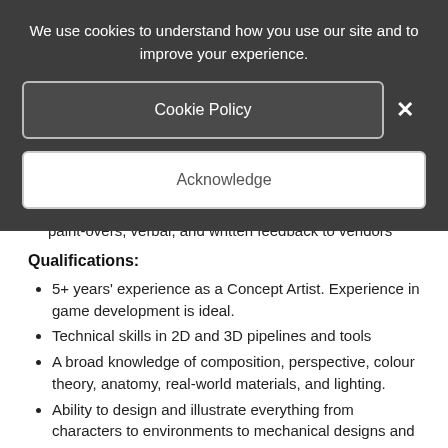We use cookies to understand how you use our site and to improve your experience.
Cookie Policy
Acknowledge
paint-overs, verbal, and written feedback to vendors
Qualifications:
5+ years' experience as a Concept Artist. Experience in game development is ideal.
Technical skills in 2D and 3D pipelines and tools
A broad knowledge of composition, perspective, colour theory, anatomy, real-world materials, and lighting.
Ability to design and illustrate everything from characters to environments to mechanical designs and more
Ability to provide training and mentorship to less experienced concept artists